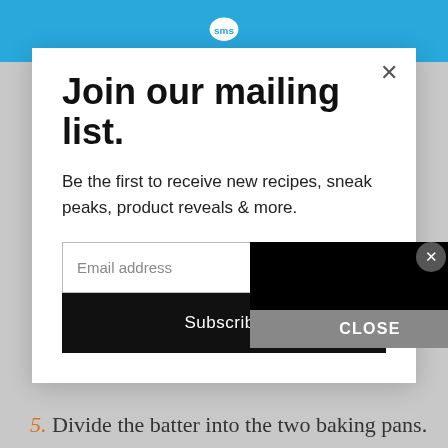SMS logo / top bar
pan (this will allow for easy removal of the
Join our mailing list.
Be the first to receive new recipes, sneak peaks, product reveals & more.
Email address
Subscribe
CLOSE
batter will be thick.
5. Divide the batter into the two baking pans.